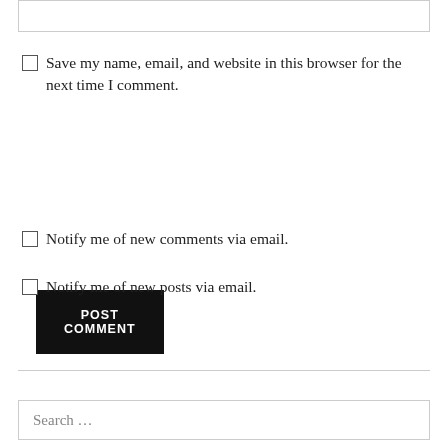[Figure (other): Text input box at the top of the page]
Save my name, email, and website in this browser for the next time I comment.
POST COMMENT
Notify me of new comments via email.
Notify me of new posts via email.
Search ...